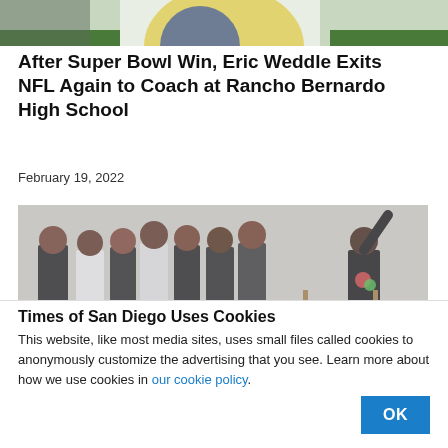[Figure (photo): Partial photo of a person in sports attire, top portion of page cropped]
After Super Bowl Win, Eric Weddle Exits NFL Again to Coach at Rancho Bernardo High School
February 19, 2022
[Figure (photo): Dance class photo showing multiple students in black attire at ballet barre, with instructor pointing upward]
Times of San Diego Uses Cookies
This website, like most media sites, uses small files called cookies to anonymously customize the advertising that you see. Learn more about how we use cookies in our cookie policy.